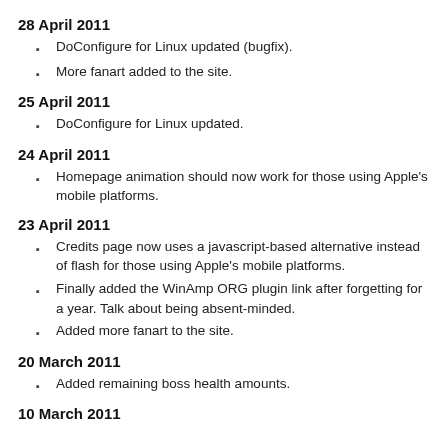28 April 2011
DoConfigure for Linux updated (bugfix).
More fanart added to the site.
25 April 2011
DoConfigure for Linux updated.
24 April 2011
Homepage animation should now work for those using Apple's mobile platforms.
23 April 2011
Credits page now uses a javascript-based alternative instead of flash for those using Apple's mobile platforms.
Finally added the WinAmp ORG plugin link after forgetting for a year. Talk about being absent-minded.
Added more fanart to the site.
20 March 2011
Added remaining boss health amounts.
10 March 2011